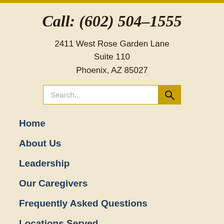[Figure (logo): Accessibility icon circle with human figure]
Call: (602) 504-1555
2411 West Rose Garden Lane
Suite 110
Phoenix, AZ 85027
[Figure (other): Search input bar with gold search button]
Home
About Us
Leadership
Our Caregivers
Frequently Asked Questions
Locations Served
Satisfied Clien...